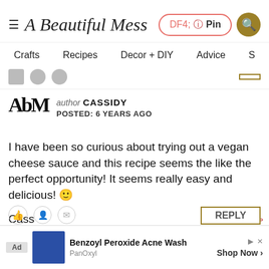A Beautiful Mess — Pin | Search navigation with Crafts, Recipes, Decor + DIY, Advice
author CASSIDY
POSTED: 6 YEARS AGO
I have been so curious about trying out a vegan cheese sauce and this recipe seems the like the perfect opportunity! It seems really easy and delicious! 🙂

Cass
www.lifewithcass.com
[Figure (screenshot): Ad banner for Benzoyl Peroxide Acne Wash by PanOxyl with Shop Now button]